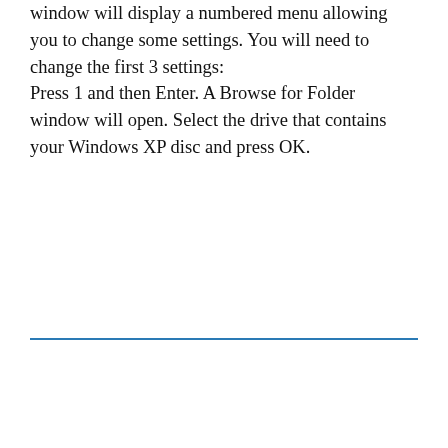window will display a numbered menu allowing you to change some settings. You will need to change the first 3 settings: Press 1 and then Enter. A Browse for Folder window will open. Select the drive that contains your Windows XP disc and press OK.